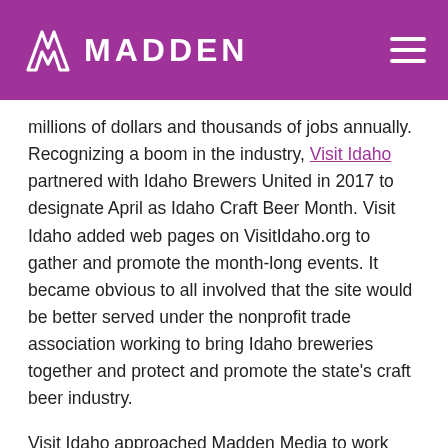MADDEN
millions of dollars and thousands of jobs annually. Recognizing a boom in the industry, Visit Idaho partnered with Idaho Brewers United in 2017 to designate April as Idaho Craft Beer Month. Visit Idaho added web pages on VisitIdaho.org to gather and promote the month-long events. It became obvious to all involved that the site would be better served under the nonprofit trade association working to bring Idaho breweries together and protect and promote the state's craft beer industry.
Visit Idaho approached Madden Media to work with Idaho Brewers United to migrate the pages off the state's website by creating a stand-alone microsite.